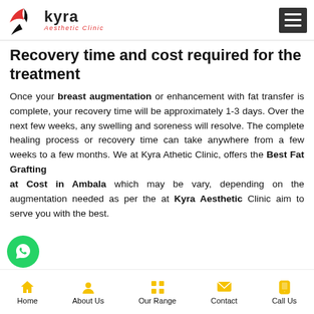Kyra Aesthetic Clinic
Recovery time and cost required for the treatment
Once your breast augmentation or enhancement with fat transfer is complete, your recovery time will be approximately 1-3 days. Over the next few weeks, any swelling and soreness will resolve. The complete healing process or recovery time can take anywhere from a few weeks to a few months. We at Kyra Aesthetic Clinic, offers the Best Fat Grafting at Cost in Ambala which may be vary, depending on the augmentation needed as per the at Kyra Aesthetic Clinic aim to serve you with the best.
Home | About Us | Our Range | Contact | Call Us